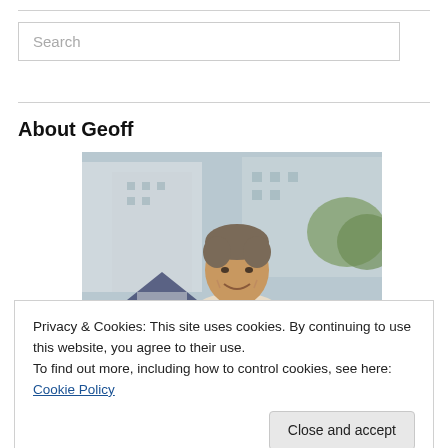[Figure (screenshot): Search input box with placeholder text 'Search']
About Geoff
[Figure (photo): Headshot of a smiling middle-aged man with short grey-brown hair, wearing a light-colored jacket, outdoors with blurred buildings and greenery in background]
Privacy & Cookies: This site uses cookies. By continuing to use this website, you agree to their use.
To find out more, including how to control cookies, see here: Cookie Policy
Close and accept
round-table discussions, and strategic growth and deployment